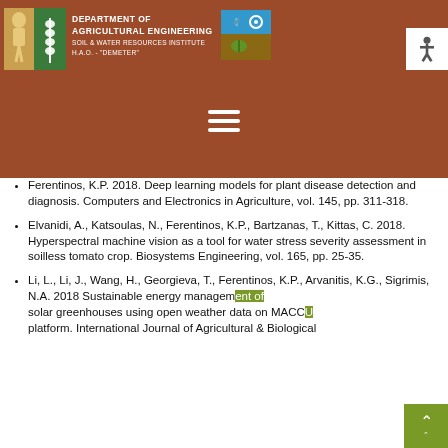[Figure (logo): Department of Agricultural Engineering header with left logo (green/white figure with wheat), institution text center, right logo (blue/green gear icon), and brown/rust background with hamburger menu and accessibility icon]
Ferentinos, K.P. 2018. Deep learning models for plant disease detection and diagnosis. Computers and Electronics in Agriculture, vol. 145, pp. 311-318.
Elvanidi, A., Katsoulas, N., Ferentinos, K.P., Bartzanas, T., Kittas, C. 2018. Hyperspectral machine vision as a tool for water stress severity assessment in soilless tomato crop. Biosystems Engineering, vol. 165, pp. 25-35.
Li, L., Li, J., Wang, H., Georgieva, T., Ferentinos, K.P., Arvanitis, K.G., Sigrimis, N.A. 2018 Sustainable energy management of solar greenhouses using open weather data on MACQU platform. International Journal of Agricultural & Biological...